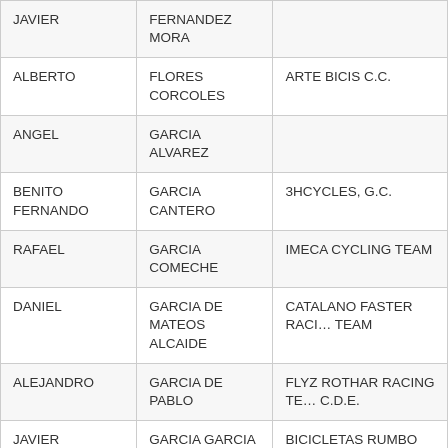| JAVIER | FERNANDEZ MORA |  |
| ALBERTO | FLORES CORCOLES | ARTE BICIS C.C. |
| ANGEL | GARCIA ALVAREZ |  |
| BENITO FERNANDO | GARCIA CANTERO | 3HCYCLES, G.C. |
| RAFAEL | GARCIA COMECHE | IMECA CYCLING TEAM |
| DANIEL | GARCIA DE MATEOS ALCAIDE | CATALANO FASTER RACING TEAM |
| ALEJANDRO | GARCIA DE PABLO | FLYZ ROTHAR RACING TEAM C.D.E. |
| JAVIER | GARCIA GARCIA | BICICLETAS RUMBO TEAM |